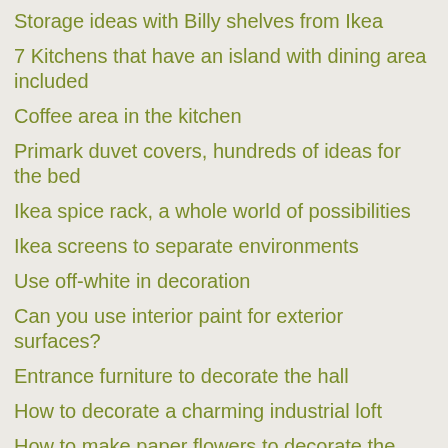Storage ideas with Billy shelves from Ikea
7 Kitchens that have an island with dining area included
Coffee area in the kitchen
Primark duvet covers, hundreds of ideas for the bed
Ikea spice rack, a whole world of possibilities
Ikea screens to separate environments
Use off-white in decoration
Can you use interior paint for exterior surfaces?
Entrance furniture to decorate the hall
How to decorate a charming industrial loft
How to make paper flowers to decorate the home
Uses of citronella in the home
Garbage cans: how to organize garbage at home?